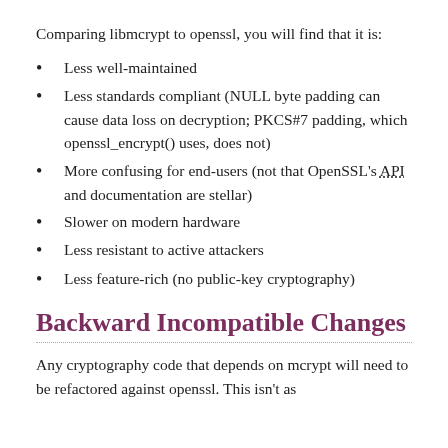Comparing libmcrypt to openssl, you will find that it is:
Less well-maintained
Less standards compliant (NULL byte padding can cause data loss on decryption; PKCS#7 padding, which openssl_encrypt() uses, does not)
More confusing for end-users (not that OpenSSL's API and documentation are stellar)
Slower on modern hardware
Less resistant to active attackers
Less feature-rich (no public-key cryptography)
Backward Incompatible Changes
Any cryptography code that depends on mcrypt will need to be refactored against openssl. This isn't as